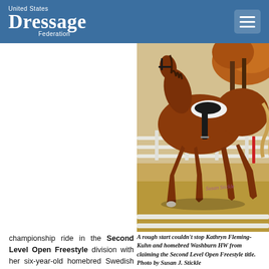United States Dressage Federation
[Figure (photo): A chestnut horse and rider performing dressage, trotting in an outdoor arena with white fencing and autumn foliage background. The horse is a chestnut warmblood showing extended trot movement.]
A rough start couldn't stop Kathryn Fleming-Kuhn and homebred Washburn HW from claiming the Second Level Open Freestyle title. Photo by Susan J. Stickle
championship ride in the Second Level Open Freestyle division with her six-year-old homebred Swedish Warmblood gelding Washburn SW (Wolkentanz II x Opal) did not get off to a good